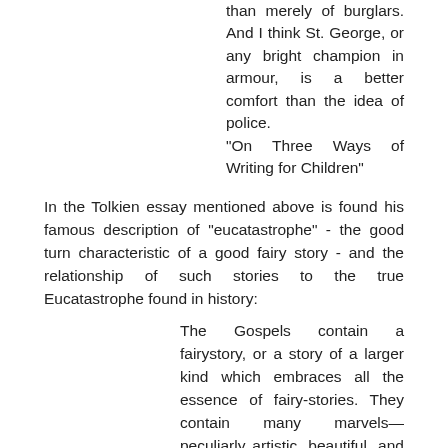than merely of burglars. And I think St. George, or any bright champion in armour, is a better comfort than the idea of police. "On Three Ways of Writing for Children"
In the Tolkien essay mentioned above is found his famous description of "eucatastrophe" - the good turn characteristic of a good fairy story - and the relationship of such stories to the true Eucatastrophe found in history:
The Gospels contain a fairystory, or a story of a larger kind which embraces all the essence of fairy-stories. They contain many marvels—peculiarly artistic, beautiful, and moving: “mythical” in their perfect, selfcontained significance; and among the marvels is the greatest and most complete conceivable eucatastrophe. But this story has entered History and the primary world; the desire and aspiration of sub-creation has been raised to the fulfillment of Creation. The Birth of Christ is the